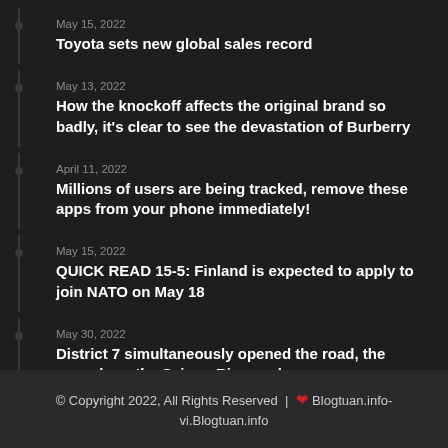May 15, 2022
Toyota sets new global sales record
May 13, 2022
How the knockoff affects the original brand so badly, it's clear to see the devastation of Burberry
April 11, 2022
Millions of users are being tracked, remove these apps from your phone immediately!
May 15, 2022
QUICK READ 15-5: Finland is expected to apply to join NATO on May 18
May 30, 2022
District 7 simultaneously opened the road, the area along the Saigon River welcomes development momentum
© Copyright 2022, All Rights Reserved | ❤ Blogtuan.info-
vi.Blogtuan.info